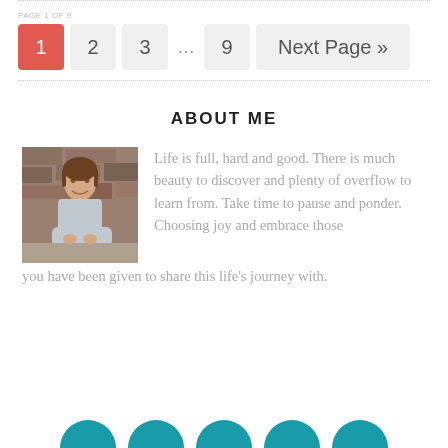Pagination: 1 2 3 ... 9 Next Page »
ABOUT ME
[Figure (photo): Portrait photo of a woman leaning on a stone ledge, smiling at the camera, with a stone wall background]
Life is full, hard and good. There is much beauty to discover and plenty of overflow to learn from. Take time to pause and ponder. Choosing joy and embrace those you have been given to share this life's journey with.